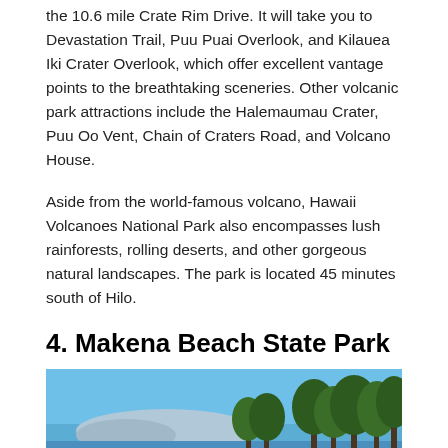the 10.6 mile Crate Rim Drive. It will take you to Devastation Trail, Puu Puai Overlook, and Kilauea Iki Crater Overlook, which offer excellent vantage points to the breathtaking sceneries. Other volcanic park attractions include the Halemaumau Crater, Puu Oo Vent, Chain of Craters Road, and Volcano House.
Aside from the world-famous volcano, Hawaii Volcanoes National Park also encompasses lush rainforests, rolling deserts, and other gorgeous natural landscapes. The park is located 45 minutes south of Hilo.
4. Makena Beach State Park
[Figure (photo): Photograph of Makena Beach State Park showing a sandy beach with trees and mountains in the background under a blue sky]